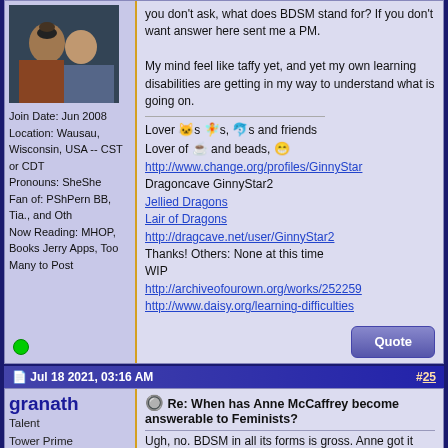[Figure (photo): Forum avatar photo of a couple]
Join Date: Jun 2008
Location: Wausau, Wisconsin, USA -- CST or CDT
Pronouns: SheShe
Fan of: PShPern BB, Tia., and Oth
Now Reading: MHOP, Books Jerry Apps, Too Many to Post
you don't ask, what does BDSM stand for? If you don't want answer here sent me a PM.

My mind feel like taffy yet, and yet my own learning disabilities are getting in my way to understand what is going on.

Lover [cat emoji]s [fairy emoji]s, [dolphin emoji]s and friends
Lover of [coffee emoji] and beads, [smiley emoji]
http://www.change.org/profiles/GinnyStar
Dragoncave GinnyStar2
Jellied Dragons
Lair of Dragons
http://dragcave.net/user/GinnyStar2
Thanks! Others: None at this time
WIP
http://archiveofourown.org/works/252259
http://www.daisy.org/learning-difficulties
Jul 18 2021, 03:16 AM
#25
granath
Talent
Tower Prime
Re: When has Anne McCaffrey become answerable to Feminists?

Ugh, no. BDSM in all its forms is gross. Anne got it right with Kalel/Ma...